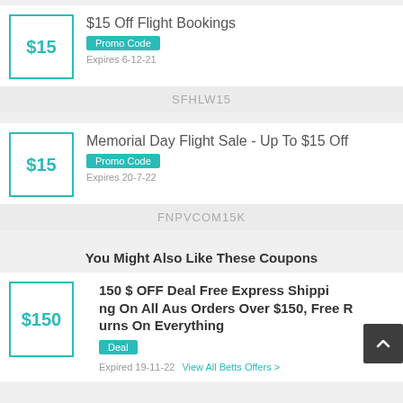$15 Off Flight Bookings | Promo Code | Expires 6-12-21 | Code: SFHLW15
Memorial Day Flight Sale - Up To $15 Off | Promo Code | Expires 20-7-22 | Code: FNPVCOM15K
You Might Also Like These Coupons
150 $ OFF Deal Free Express Shipping On All Aus Orders Over $150, Free Returns On Everything | Deal | Expired 19-11-22 | View All Betts Offers >